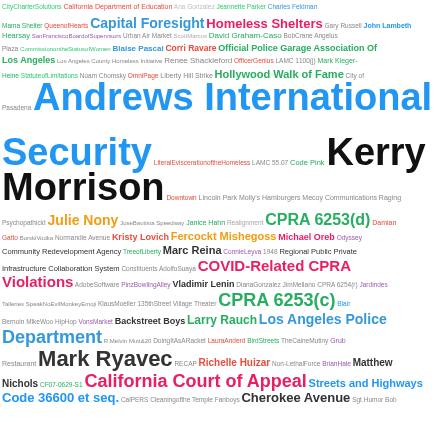[Figure (infographic): Word cloud featuring government, legal, and civic terms from Los Angeles area. Prominent terms include Andrews International Security, Kerry Morrison, Mark Ryavec, California Court of Appeal, Los Angeles Police Department, COVID-Related CPRA Violations, CPRA 6253(d), CPRA 6253(c), Hollywood Walk of Fame, Capital Foresight, Homeless Shelters, and many others in various colors and sizes.]